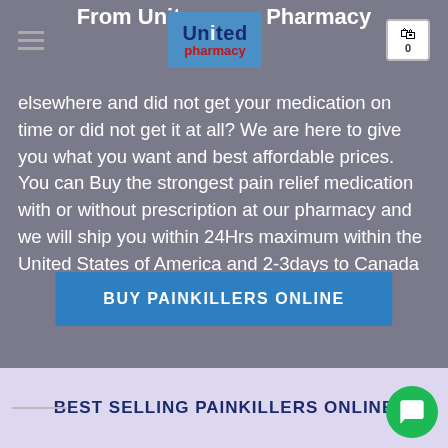From United Pharmacy
[Figure (logo): United Pharmacy logo with blue background, dark blue 'United' text and red 'pharmacy' text]
Have you been looking for a pharmacy or you shopped elsewhere and did not get your medication on time or did not get it at all? We are here to give you what you want and best affordable prices. You can Buy the strongest pain relief medication with or without prescription at our pharmacy and we will ship you within 24Hrs maximum within the United States of America and 2-3days to Canada
BUY PAINKILLERS ONLINE
BEST SELLING PAINKILLERS ONLINE